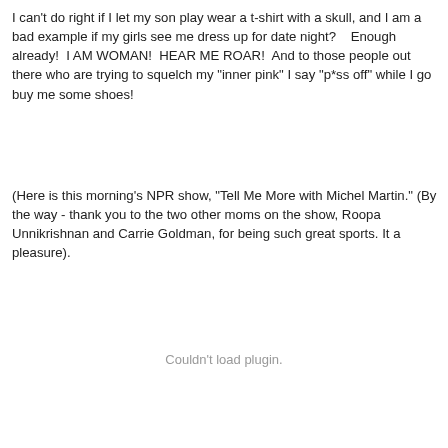I can't do right if I let my son play wear a t-shirt with a skull, and I am a bad example if my girls see me dress up for date night?    Enough already!  I AM WOMAN!  HEAR ME ROAR!  And to those people out there who are trying to squelch my "inner pink" I say "p*ss off" while I go buy me some shoes!
(Here is this morning's NPR show, "Tell Me More with Michel Martin." (By the way - thank you to the two other moms on the show, Roopa Unnikrishnan and Carrie Goldman, for being such great sports. It a pleasure).
Couldn't load plugin.